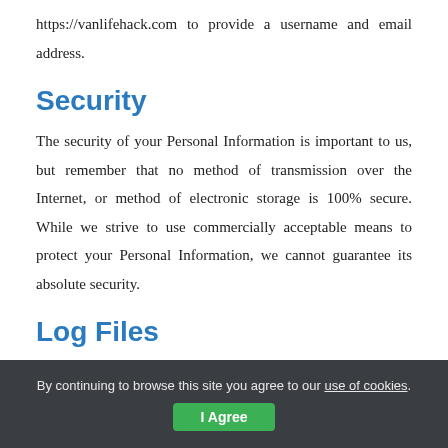https://vanlifehack.com to provide a username and email address.
Security
The security of your Personal Information is important to us, but remember that no method of transmission over the Internet, or method of electronic storage is 100% secure. While we strive to use commercially acceptable means to protect your Personal Information, we cannot guarantee its absolute security.
Log Files
VanlifeHack follows a standard procedure of using log files. These files log visitors when they visit websites. All hosting companies do this and a part of hosting services' analytics. The information collected by log files include internet protocol (IP) addresses, browser type,
By continuing to browse this site you agree to our use of cookies. I Agree